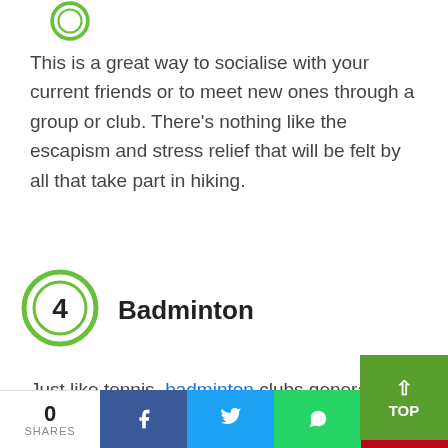[Figure (illustration): Partially visible green circular icon at the top of the page]
This is a great way to socialise with your current friends or to meet new ones through a group or club. There’s nothing like the escapism and stress relief that will be felt by all that take part in hiking.
4 Badminton
Just like tennis, badminton clubs generally have an active social side to them. And a
0 SHARES [Facebook] [Twitter] [WhatsApp] [Pinterest]